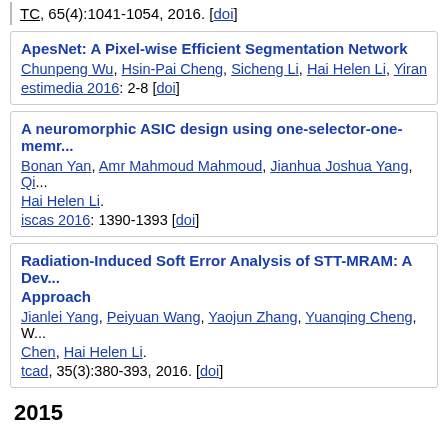TC, 65(4):1041-1054, 2016. [doi]
ApesNet: A Pixel-wise Efficient Segmentation Network. Chunpeng Wu, Hsin-Pai Cheng, Sicheng Li, Hai Helen Li, Yiran ... estimedia 2016: 2-8 [doi]
A neuromorphic ASIC design using one-selector-one-memr... Bonan Yan, Amr Mahmoud Mahmoud, Jianhua Joshua Yang, Qi... Hai Helen Li. iscas 2016: 1390-1393 [doi]
Radiation-Induced Soft Error Analysis of STT-MRAM: A Dev... Approach. Jianlei Yang, Peiyuan Wang, Yaojun Zhang, Yuanqing Cheng, W... Chen, Hai Helen Li. tcad, 35(3):380-393, 2016. [doi]
2015